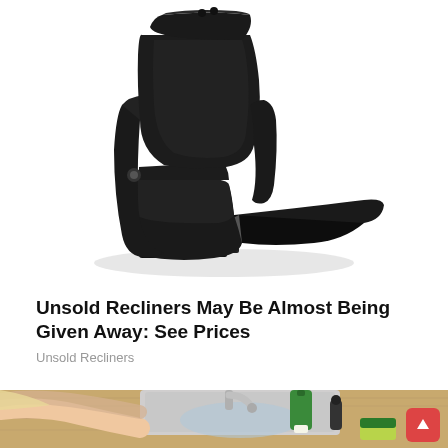[Figure (photo): Black leather recliner chair with footrest extended, on white background]
Unsold Recliners May Be Almost Being Given Away: See Prices
Unsold Recliners
[Figure (photo): Person washing hands at a kitchen sink with green dish soap bottle and yellow-green sponge on wooden countertop]